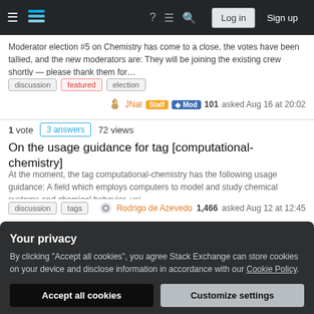Stack Exchange navigation bar with Log in and Sign up buttons
Moderator election #5 on Chemistry has come to a close, the votes have been tallied, and the new moderators are: They will be joining the existing crew shortly — please thank them for…
discussion  featured  election
JNat  Staff  Mod  101  asked Aug 16 at 20:02
1 vote  3 answers  72 views
On the usage guidance for tag [computational-chemistry]
At the moment, the tag computational-chemistry has the following usage guidance: A field which employs computers to model and study chemical systems and chemical behavior, usi…
discussion  tags  Rodrigo de Azevedo  1,466  asked Aug 12 at 12:45
Your privacy
By clicking "Accept all cookies", you agree Stack Exchange can store cookies on your device and disclose information in accordance with our Cookie Policy.
Accept all cookies  Customize settings